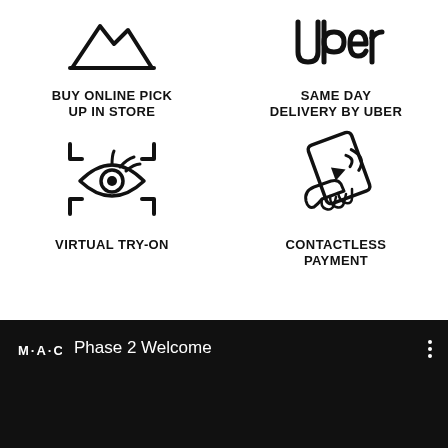[Figure (infographic): Icon: mountain/landscape outline representing Buy Online Pick Up In Store]
BUY ONLINE PICK UP IN STORE
[Figure (infographic): Uber logo wordmark]
SAME DAY DELIVERY BY UBER
[Figure (infographic): Icon: eye with virtual try-on scanning frame brackets]
VIRTUAL TRY-ON
[Figure (infographic): Icon: hand holding phone with contactless payment NFC signal]
CONTACTLESS PAYMENT
[Figure (screenshot): Dark video player interface showing MAC logo and text 'Phase 2 Welcome' with three-dot menu icon]